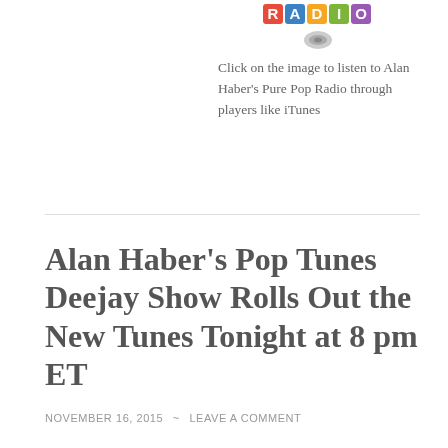[Figure (logo): Colorful block-letter RADIO logo image in top right area]
Click on the image to listen to Alan Haber's Pure Pop Radio through players like iTunes
Alan Haber's Pop Tunes Deejay Show Rolls Out the New Tunes Tonight at 8 pm ET
NOVEMBER 16, 2015 ~ LEAVE A COMMENT